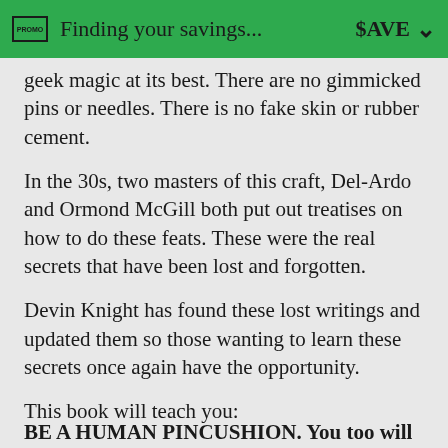Finding your savings... $AVE
geek magic at its best. There are no gimmicked pins or needles. There is no fake skin or rubber cement.
In the 30s, two masters of this craft, Del-Ardo and Ormond McGill both put out treatises on how to do these feats. These were the real secrets that have been lost and forgotten.
Devin Knight has found these lost writings and updated them so those wanting to learn these secrets once again have the opportunity.
This book will teach you:
BE A HUMAN PINCUSHION. You too will...